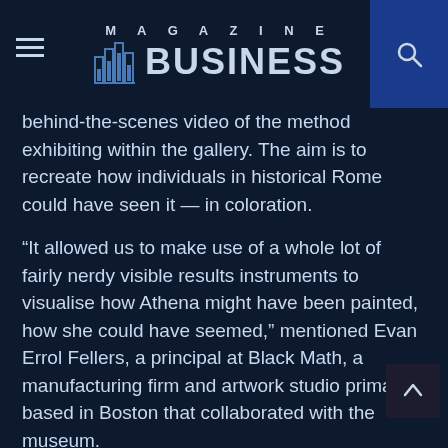MAGAZINE BUSINESS
behind-the-scenes video of the method exhibiting within the gallery. The aim is to recreate how individuals in historical Rome could have seen it — in coloration.
“It allowed us to make use of a whole lot of fairly nerdy visible results instruments to visualise how Athena might have been painted, how she could have seemed,” mentioned Evan Errol Fellers, a principal at Black Math, a manufacturing firm and artwork studio primarily based in Boston that collaborated with the museum.
The museum conservation staff examined hint pigments on the largely white statue of Athena utilizing particular lights and photographic strategies, and chemical evaluation. A digital mannequin of the statue was the created utilizing tons of of pictures.